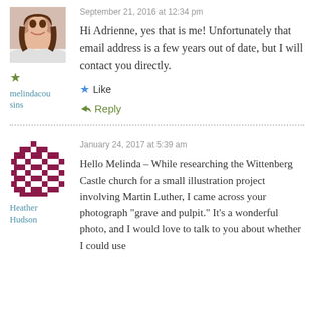[Figure (photo): Profile photo of a woman smiling, with brown hair, wearing white top]
melindacousins
September 21, 2016 at 12:34 pm
Hi Adrienne, yes that is me! Unfortunately that email address is a few years out of date, but I will contact you directly.
Like
Reply
[Figure (illustration): Mosaic/pixel art avatar in dark red/maroon color with diamond pattern]
Heather Hudson
January 24, 2017 at 5:39 am
Hello Melinda – While researching the Wittenberg Castle church for a small illustration project involving Martin Luther, I came across your photograph “grave and pulpit.” It’s a wonderful photo, and I would love to talk to you about whether I could use